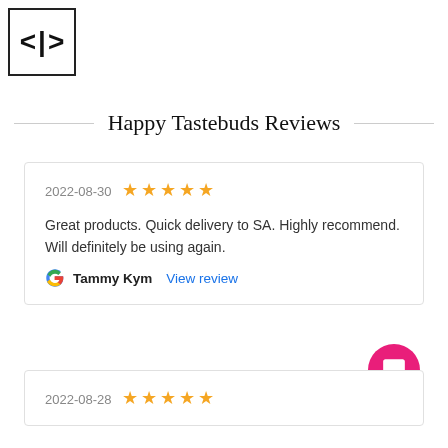[Figure (illustration): Navigation icon with two angle brackets < > in a bordered box]
Happy Tastebuds Reviews
2022-08-30 ★★★★★
Great products. Quick delivery to SA. Highly recommend. Will definitely be using again.
Tammy Kym  View review
2022-08-28 ★★★★★